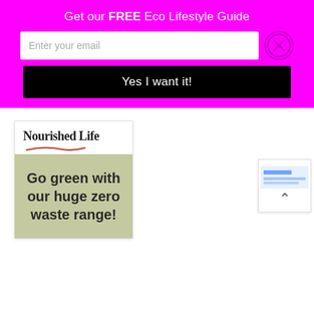Get our FREE Eco Lifestyle Guide
Enter your email
Yes I want it!
[Figure (logo): Nourished Life logo with red underline swoosh]
Go green with our huge zero waste range!